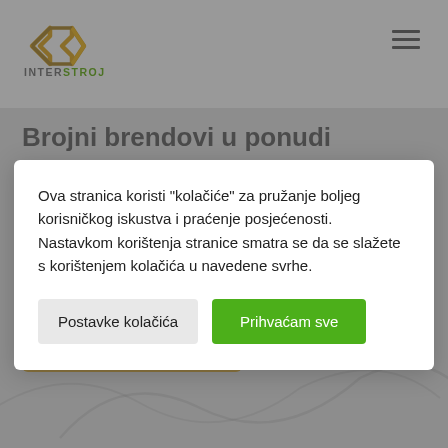[Figure (logo): Interstroj logo: angular diamond/arrow shape in gold/brown tones with text INTERSTROJ below]
Ova stranica koristi "kolačiće" za pružanje boljeg korisničkog iskustva i praćenje posjećenosti. Nastavkom korištenja stranice smatra se da se slažete s korištenjem kolačića u navedene svrhe.
Postavke kolačića
Prihvaćam sve
Brojni brendovi u ponudi
Saznaj više